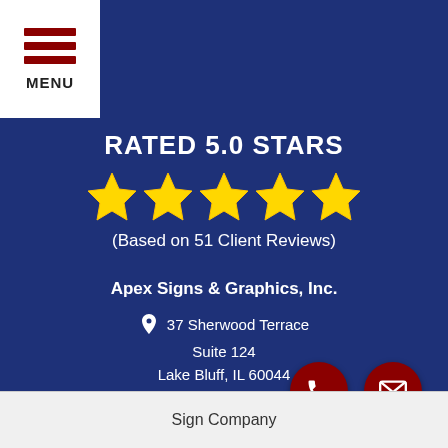[Figure (logo): Menu button with three dark red horizontal bars and text MENU below]
RATED 5.0 STARS
[Figure (infographic): Five gold star rating icons in a row]
(Based on 51 Client Reviews)
Apex Signs & Graphics, Inc.
37 Sherwood Terrace
Suite 124
Lake Bluff, IL 60044
(847) 453-3283
9am to 5pm Mon-Fri
Sign Company